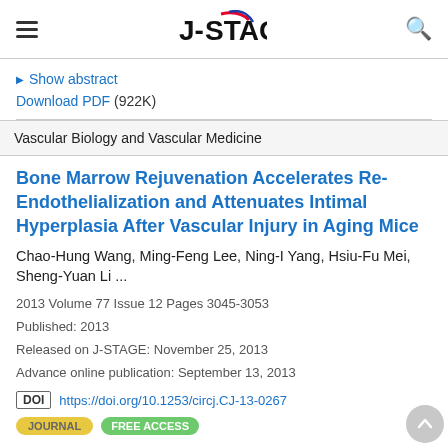J-STAGE
Show abstract
Download PDF (922K)
Vascular Biology and Vascular Medicine
Bone Marrow Rejuvenation Accelerates Re-Endothelialization and Attenuates Intimal Hyperplasia After Vascular Injury in Aging Mice
Chao-Hung Wang, Ming-Feng Lee, Ning-I Yang, Hsiu-Fu Mei, Sheng-Yuan Li ...
2013 Volume 77 Issue 12 Pages 3045-3053
Published: 2013
Released on J-STAGE: November 25, 2013
Advance online publication: September 13, 2013
DOI https://doi.org/10.1253/circj.CJ-13-0267